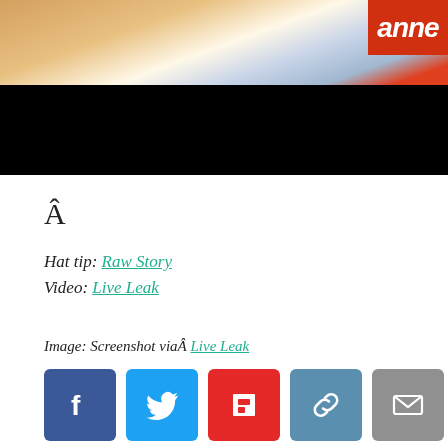[Figure (screenshot): Video screenshot showing partial text 'anne' on red banner at top right, with orange/warm tones in upper portion and black lower portion (video player letterbox).]
Â
Hat tip: Raw Story
Video: Live Leak
Image: Screenshot viaÂ Live Leak
[Figure (infographic): Social media share buttons: Facebook (blue), Twitter (blue), Flipboard (red), Link (steel blue), Email (grey)]
RELATED TOPICS: